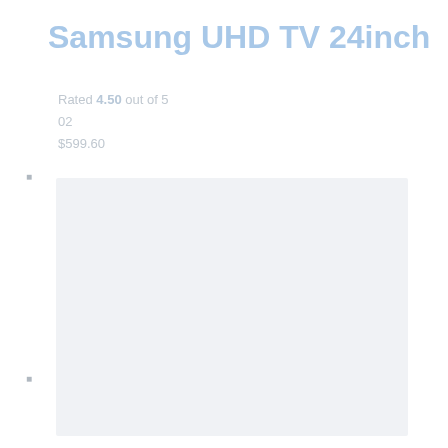Samsung UHD TV 24inch
Rated 4.50 out of 5
02
$599.60
[Figure (photo): Product image placeholder — light grey/blue rectangle representing a Samsung UHD TV 24inch product photo]
Out Of